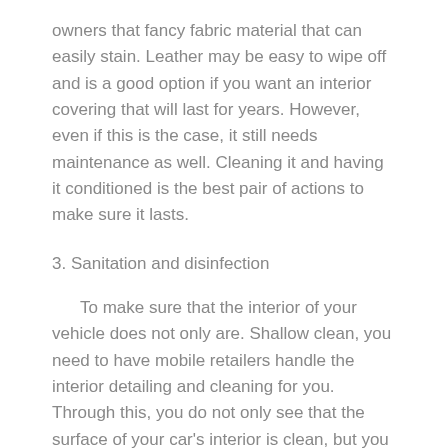owners that fancy fabric material that can easily stain. Leather may be easy to wipe off and is a good option if you want an interior covering that will last for years. However, even if this is the case, it still needs maintenance as well. Cleaning it and having it conditioned is the best pair of actions to make sure it lasts.
3. Sanitation and disinfection
To make sure that the interior of your vehicle does not only are. Shallow clean, you need to have mobile retailers handle the interior detailing and cleaning for you. Through this, you do not only see that the surface of your car's interior is clean, but you are also sure that it will provide a fresh and clean smell. You will surely know if your vehicle is cleaned and appropriately detailed if it smells good. On the downside, if it does not provide a fresh and good smell, you may be at the